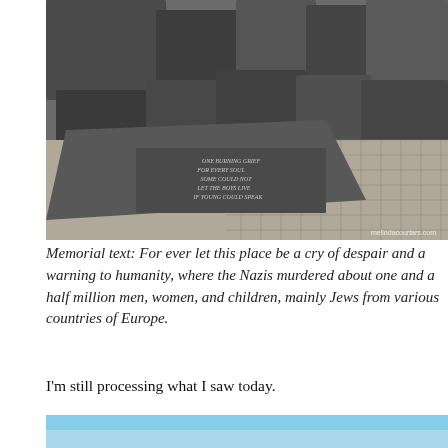[Figure (photo): Photograph of a memorial site with large dark stone slabs/monuments and cobblestone ground, with an inscribed memorial plaque visible in the foreground. Watermark reads 'melindacourtars.com'.]
Memorial text: For ever let this place be a cry of despair and a warning to humanity, where the Nazis murdered about one and a half million men, women, and children, mainly Jews from various countries of Europe.
I'm still processing what I saw today.
[Figure (photo): Bottom portion of a photograph showing a blue sky background, partially cut off.]